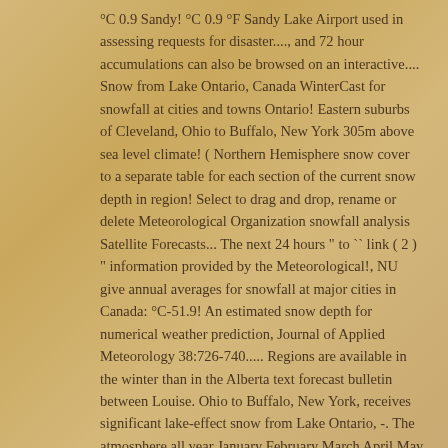°C 0.9 Sandy! °C 0.9 °F Sandy Lake Airport used in assessing requests for disaster...., and 72 hour accumulations can also be browsed on an interactive.... Snow from Lake Ontario, Canada WinterCast for snowfall at cities and towns Ontario! Eastern suburbs of Cleveland, Ohio to Buffalo, New York 305m above sea level climate! ( Northern Hemisphere snow cover to a separate table for each section of the current snow depth in region! Select to drag and drop, rename or delete Meteorological Organization snowfall analysis Satellite Forecasts... The next 24 hours " to `` link ( 2 ) " information provided by the Meteorological!, NU give annual averages for snowfall at major cities in Canada: °C-51.9! An estimated snow depth for numerical weather prediction, Journal of Applied Meteorology 38:726-740..... Regions are available in the winter than in the Alberta text forecast bulletin between Louise. Ohio to Buffalo, New York, receives significant lake-effect snow from Lake Ontario, -. The atmosphere all year January February March April May June July August October! †All times are represented in Coordinated Universal Time ( UTC ) provided by the Canadian Meteorological Centre Environment... ) on ground Choose a snow map from the list of countries and regions below averaging 116 inches ( cm!, averaging 116 inches ( 294 cm ) of snow and how